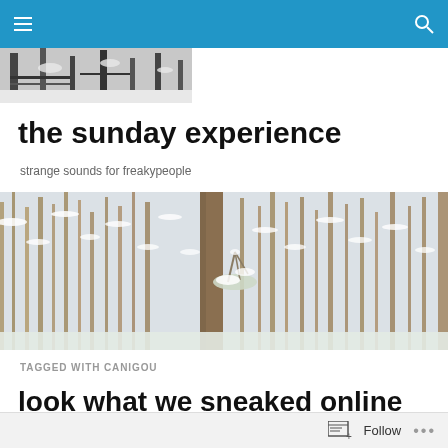Navigation bar with hamburger menu and search icon
[Figure (photo): Black and white photo strip showing winter scene with bench and snow]
the sunday experience
strange sounds for freaky people
[Figure (photo): Wide banner photo of a snow-covered winter forest with trees and snow on branches]
TAGGED WITH CANIGOU
look what we sneaked online while you were sleeping – transmission 14.6
Follow ...